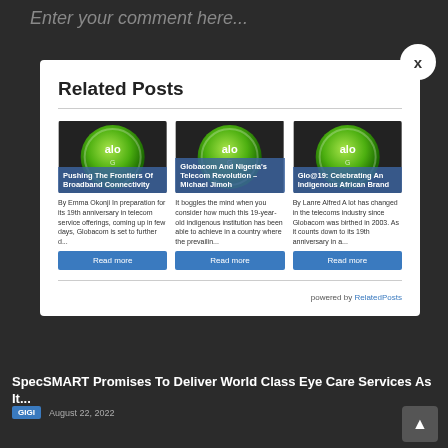Enter your comment here...
Related Posts
[Figure (illustration): Glo logo green ball - Pushing The Frontiers Of Broadband Connectivity]
By Emma Okonji In preparation for its 19th anniversary in telecom service offerings, coming up in few days, Globacom is set to further d...
[Figure (illustration): Glo logo green ball - Globacom And Nigeria's Telecom Revolution – Michael Jimoh]
It boggles the mind when you consider how much this 19-year-old indigenous institution has been able to achieve in a country where the prevailin...
[Figure (illustration): Glo logo green ball - Glo@19: Celebrating An Indigenous African Brand]
By Lanre Alfred A lot has changed in the telecoms industry since Globacom was birthed in 2003. As it counts down to its 19th anniversary in a...
powered by RelatedPosts
SpecSMART Promises To Deliver World Class Eye Care Services As It...
GIGI  August 22, 2022
Actress Nkechi Blessing's Shocking Confession